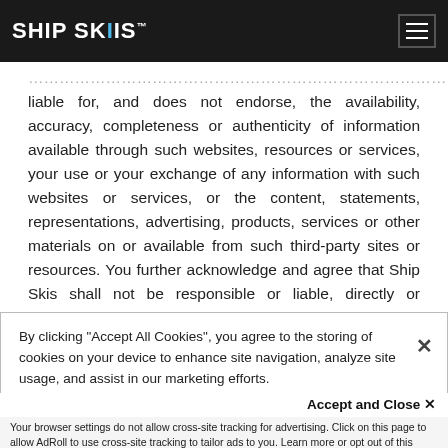SHIP SKIS
liable for, and does not endorse, the availability, accuracy, completeness or authenticity of information available through such websites, resources or services, your use or your exchange of any information with such websites or services, or the content, statements, representations, advertising, products, services or other materials on or available from such third-party sites or resources. You further acknowledge and agree that Ship Skis shall not be responsible or liable, directly or indirectly, for any damage or loss caused or alleged to be caused in connection with
By clicking "Accept All Cookies", you agree to the storing of cookies on your device to enhance site navigation, analyze site usage, and assist in our marketing efforts.
Accept and Close ✕
Your browser settings do not allow cross-site tracking for advertising. Click on this page to allow AdRoll to use cross-site tracking to tailor ads to you. Learn more or opt out of this AdRoll tracking by clicking here. This message only appears once.